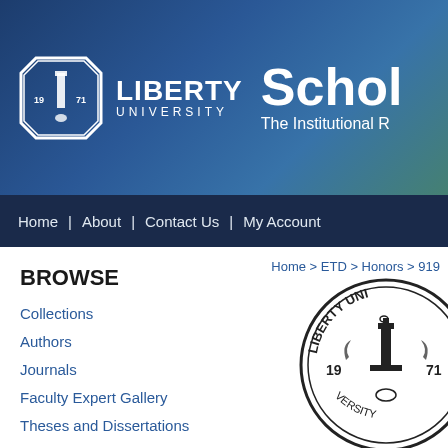[Figure (screenshot): Liberty University Scholars institutional repository website header with university logo, seal, and 'Schol / The Institutional R...' text on blue aerial campus photo background]
Home | About | Contact Us | My Account
Home > ETD > Honors > 919
BROWSE
Collections
Authors
Journals
Faculty Expert Gallery
Theses and Dissertations
Conferences and Events
Open Educational Resources
[Figure (logo): Liberty University circular seal/emblem in black and white showing '19 71' with bell tower and torch, partially visible on the right side]